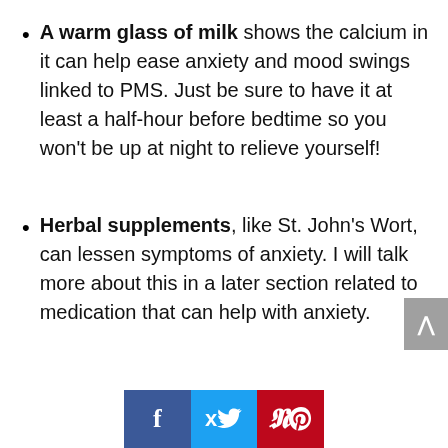A warm glass of milk shows the calcium in it can help ease anxiety and mood swings linked to PMS. Just be sure to have it at least a half-hour before bedtime so you won't be up at night to relieve yourself!
Herbal supplements, like St. John's Wort, can lessen symptoms of anxiety. I will talk more about this in a later section related to medication that can help with anxiety.
[Figure (other): Social sharing buttons bar with Facebook (blue), Twitter (light blue), and Pinterest (red) icons]